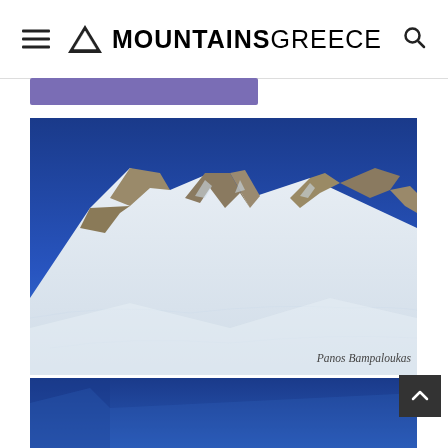MOUNTAINSGREECE
[Figure (photo): Purple/blue horizontal banner bar beneath the site header]
[Figure (photo): Snow-covered mountain peak with rocky outcrops under deep blue sky, photo credit: Panos Bampaloukas]
Panos Bampaloukas
[Figure (photo): Bottom strip showing deep blue sky, partial view of another mountain scene]